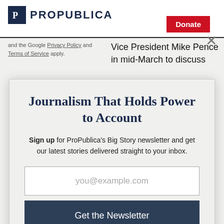ProPublica — Donate
and the Google Privacy Policy and Terms of Service apply.
Vice President Mike Pence in mid-March to discuss
Journalism That Holds Power to Account
Sign up for ProPublica's Big Story newsletter and get our latest stories delivered straight to your inbox.
you@example.com
Get the Newsletter
No thanks, I'm all set
This site is protected by reCAPTCHA and the Google Privacy Policy and Terms of Service apply.